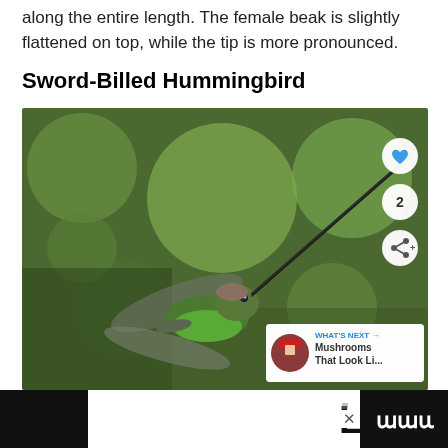along the entire length. The female beak is slightly flattened on top, while the tip is more pronounced.
Sword-Billed Hummingbird
[Figure (photo): Close-up photograph of a Sword-Billed Hummingbird in flight, showing its extremely long beak extending diagonally, with green plumage on its body and wings spread, against a blurred green background. Social media overlay buttons (like, count=2, share) and a 'WHAT'S NEXT - Mushrooms That Look Li...' thumbnail are visible on the right side of the image.]